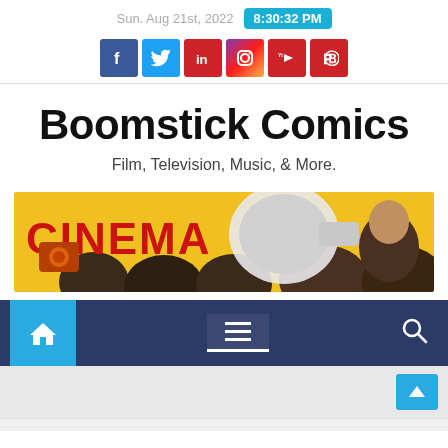Sun. Aug 21st, 2022  8:30:32 PM
[Figure (screenshot): Social media icon buttons: Facebook (blue), Twitter (light blue), LinkedIn (red), Instagram (gradient), YouTube (red), Pinterest (red)]
Boomstick Comics
Film, Television, Music, & More.
[Figure (photo): Cinema banner image with the word CINEMA in red text, a megaphone, and illustrated crowd figures on a yellow background]
[Figure (screenshot): Dark blue navigation bar with a cyan home icon button on the left, hamburger menu icon in the center with white underline, and search magnifier icon on the right]
[Figure (screenshot): Light grey content area with a cyan scroll-to-top button with up arrow in the bottom right corner]